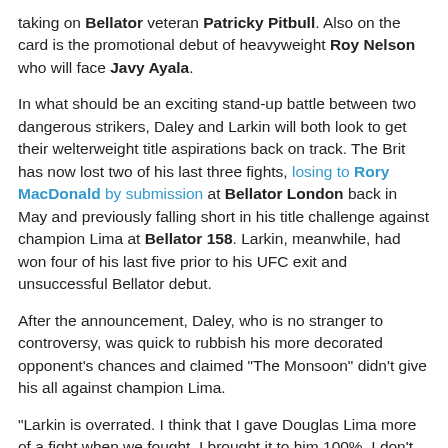taking on Bellator veteran Patricky Pitbull. Also on the card is the promotional debut of heavyweight Roy Nelson who will face Javy Ayala.
In what should be an exciting stand-up battle between two dangerous strikers, Daley and Larkin will both look to get their welterweight title aspirations back on track. The Brit has now lost two of his last three fights, losing to Rory MacDonald by submission at Bellator London back in May and previously falling short in his title challenge against champion Lima at Bellator 158. Larkin, meanwhile, had won four of his last five prior to his UFC exit and unsuccessful Bellator debut.
After the announcement, Daley, who is no stranger to controversy, was quick to rubbish his more decorated opponent's chances and claimed "The Monsoon" didn't give his all against champion Lima.
"Larkin is overrated. I think that I gave Douglas Lima more of a fight when we fought. I brought it to him 100%. I don't feel like Larkin did